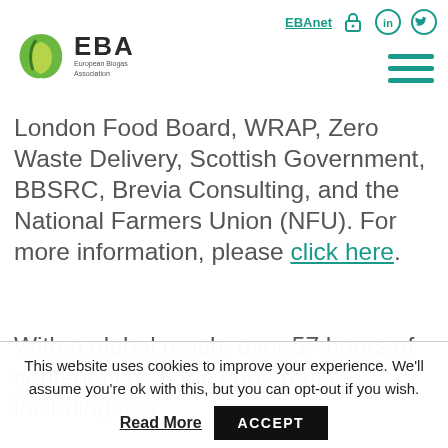EBAnet [lock icon] [LinkedIn icon] [Twitter icon] | EBA European Biogas Association logo [hamburger menu]
London Food Board, WRAP, Zero Waste Delivery, Scottish Government, BBSRC, Brevia Consulting, and the National Farmers Union (NFU). For more information, please click here.
With a global reach, over 57 hours of content across the conference including two
This website uses cookies to improve your experience. We'll assume you're ok with this, but you can opt-out if you wish.
Read More   ACCEPT